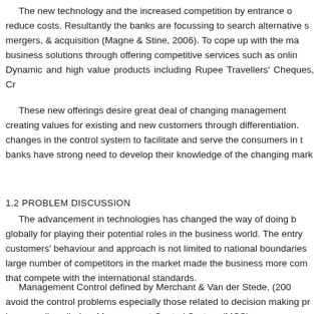The new technology and the increased competition by entrance of reduce costs. Resultantly the banks are focussing to search alternative s mergers, & acquisition (Magne & Stine, 2006). To cope up with the ma business solutions through offering competitive services such as onlin Dynamic and high value products including Rupee Travellers' Cheques, Cr
These new offerings desire great deal of changing management creating values for existing and new customers through differentiation. changes in the control system to facilitate and serve the consumers in t banks have strong need to develop their knowledge of the changing mar
1.2 PROBLEM DISCUSSION
The advancement in technologies has changed the way of doing b globally for playing their potential roles in the business world. The entry customers' behaviour and approach is not limited to national boundaries large number of competitors in the market made the business more com that compete with the international standards.
Management Control defined by Merchant & Van der Stede, (200 avoid the control problems especially those related to decision making pr in generally called as Management Control System (MCS).